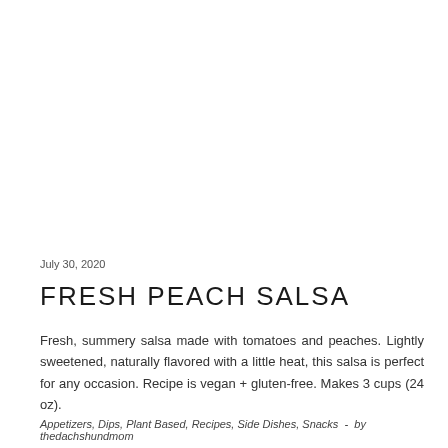July 30, 2020
FRESH PEACH SALSA
Fresh, summery salsa made with tomatoes and peaches. Lightly sweetened, naturally flavored with a little heat, this salsa is perfect for any occasion. Recipe is vegan + gluten-free. Makes 3 cups (24 oz).
Appetizers, Dips, Plant Based, Recipes, Side Dishes, Snacks  -  by thedachshundmom